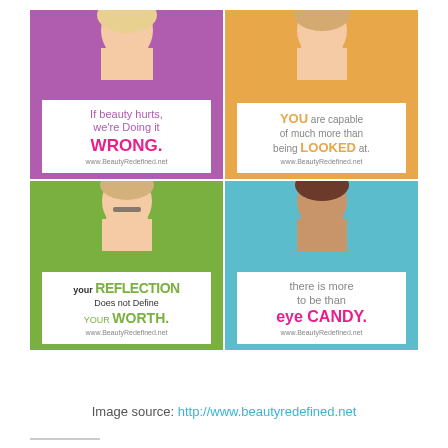[Figure (photo): Four-panel grid of women holding white signs with empowerment quotes. Top-left on purple: 'If beauty hurts, we're doing it WRONG.' Top-right on orange: 'YOU are capable of much more than being LOOKED at.' Bottom-left on green: 'your REFLECTION Does not Define YOUR WORTH.' Bottom-right on teal: 'there is more to be than eye CANDY.' Each sign shows www.BeautyRedefined.net]
Image source: http://www.beautyredefined.net